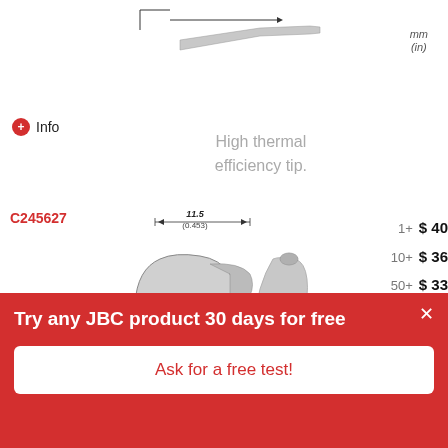[Figure (engineering-diagram): Partial top soldering tip engineering diagram with dimension arrows, showing tip profile from previous product entry]
mm
(in)
Info
High thermal efficiency tip.
C245627
[Figure (engineering-diagram): C245627 soldering tip engineering drawing showing bent tip with dimension 11.5 (0.453) mm width and Ø3 / Ø0.118 diameter, plus 3D render of the bent tip]
mm
(in)
1+   $ 40
10+  $ 36
50+  $ 33
Try any JBC product 30 days for free
Ask for a free test!